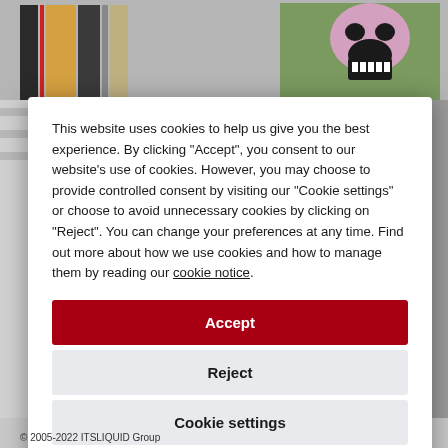[Figure (photo): Background showing artwork with a skull painting on green background and vertical striped panels, partially obscured by cookie consent modal overlay.]
This website uses cookies to help us give you the best experience. By clicking "Accept", you consent to our website's use of cookies. However, you may choose to provide controlled consent by visiting our "Cookie settings" or choose to avoid unnecessary cookies by clicking on "Reject". You can change your preferences at any time. Find out more about how we use cookies and how to manage them by reading our cookie notice.
Accept
Reject
Cookie settings
© 2005-2022 ITSLIQUID Group